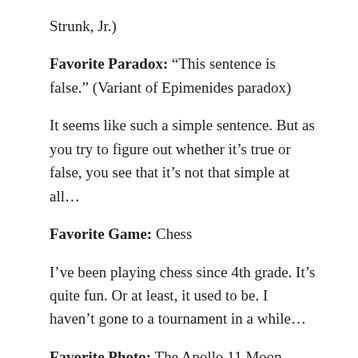Strunk, Jr.)
Favorite Paradox: “This sentence is false.” (Variant of Epimenides paradox)
It seems like such a simple sentence. But as you try to figure out whether it’s true or false, you see that it’s not that simple at all…
Favorite Game: Chess
I’ve been playing chess since 4th grade. It’s quite fun. Or at least, it used to be. I haven’t gone to a tournament in a while…
Favorite Photo: The Apollo 11 Moon Landing (1969) [link to enlarged image]